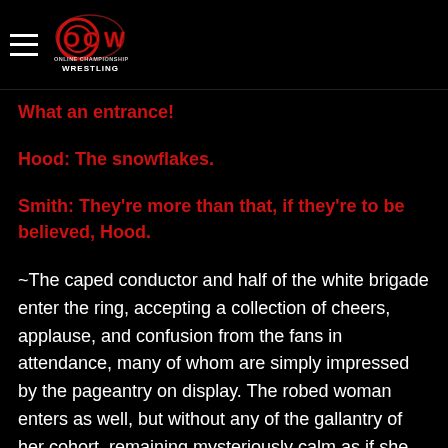OCW Online Championship Wrestling
What an entrance!
Hood: The snowflakes.
Smith: They're more than that, if they're to be believed, Hood.
~The caped conductor and half of the white brigade enter the ring, accepting a collection of cheers, applause, and confusion from the fans in attendance, many of whom are simply impressed by the pageantry on display. The robed woman enters as well, but without any of the gallantry of her cohort, remaining mysteriously calm as if she isn't there at all. The man